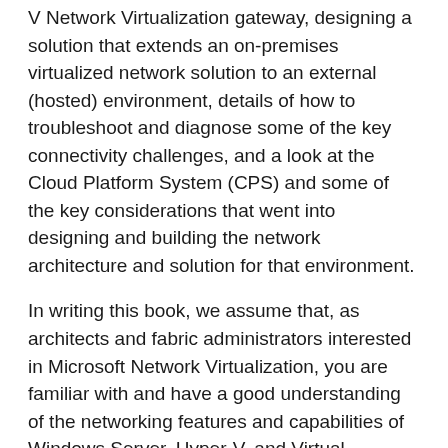V Network Virtualization gateway, designing a solution that extends an on-premises virtualized network solution to an external (hosted) environment, details of how to troubleshoot and diagnose some of the key connectivity challenges, and a look at the Cloud Platform System (CPS) and some of the key considerations that went into designing and building the network architecture and solution for that environment.
In writing this book, we assume that, as architects and fabric administrators interested in Microsoft Network Virtualization, you are familiar with and have a good understanding of the networking features and capabilities of Windows Server, Hyper-V, and Virtual Machine Manager, as well as the Microsoft Cloud OS vision available at https://www.microsoft.comen-us/server-cloud/cloud-os/default.aspx .